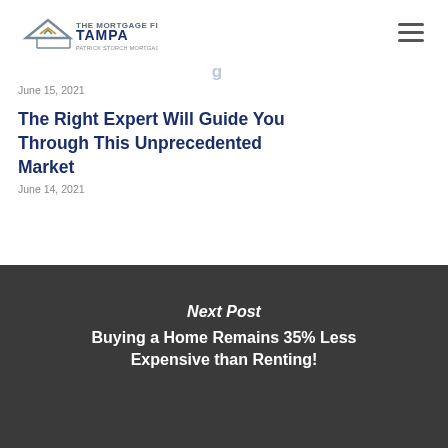[Figure (logo): The Mortgage Firm Tampa - Patrick Storch Mortgage Team logo with roof/house graphic]
June 15, 2021
The Right Expert Will Guide You Through This Unprecedented Market
June 14, 2021
Next Post
Buying a Home Remains 35% Less Expensive than Renting!